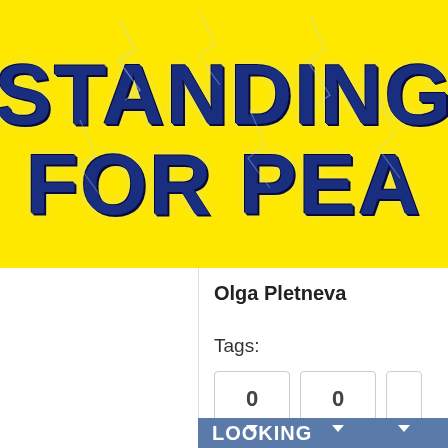[Figure (illustration): Website header banner with bright yellow background and large stylized text reading 'STANDING FOR PEA' (peace, partially cropped) in dark blue with cracked/lightning texture effect]
Olga Pletneva
Tags:
[Figure (screenshot): Social share buttons showing Tweet (blue) and Email (gray) buttons, each with a counter box showing 0, and a green share button partially cropped]
LOOKING